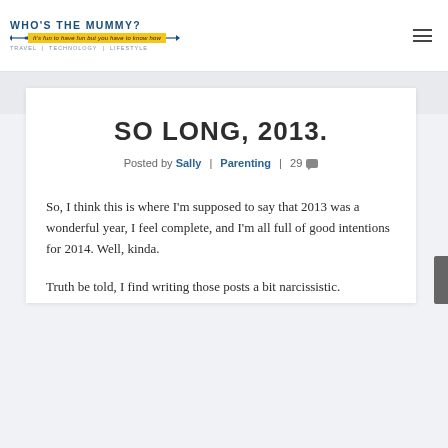WHO'S THE MUMMY? | It's fun to have fun but you have to know how | TRAVEL | TECHNOLOGY | LIFESTYLE
SO LONG, 2013.
Posted by Sally | Parenting | 29
So, I think this is where I'm supposed to say that 2013 was a wonderful year, I feel complete, and I'm all full of good intentions for 2014. Well, kinda.
Truth be told, I find writing those posts a bit narcissistic.